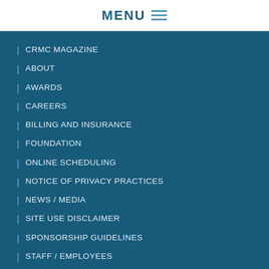MENU
CRMC MAGAZINE
ABOUT
AWARDS
CAREERS
BILLING AND INSURANCE
FOUNDATION
ONLINE SCHEDULING
NOTICE OF PRIVACY PRACTICES
NEWS / MEDIA
SITE USE DISCLAIMER
SPONSORSHIP GUIDELINES
STAFF / EMPLOYEES
CONTACT
Find a Location
Choose a Location